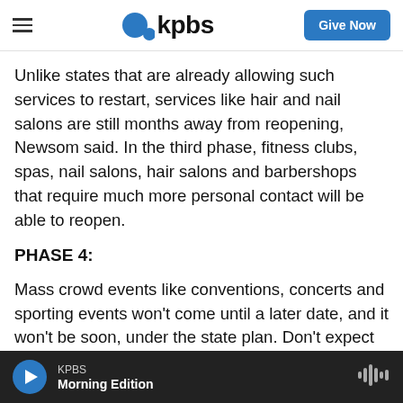[Figure (logo): KPBS logo with blue circle icon and 'kpbs' text, plus hamburger menu and 'Give Now' button]
Unlike states that are already allowing such services to restart, services like hair and nail salons are still months away from reopening, Newsom said. In the third phase, fitness clubs, spas, nail salons, hair salons and barbershops that require much more personal contact will be able to reopen.
PHASE 4:
Mass crowd events like conventions, concerts and sporting events won't come until a later date, and it won't be soon, under the state plan. Don't expect them until there is a vaccine or widespread
KPBS Morning Edition